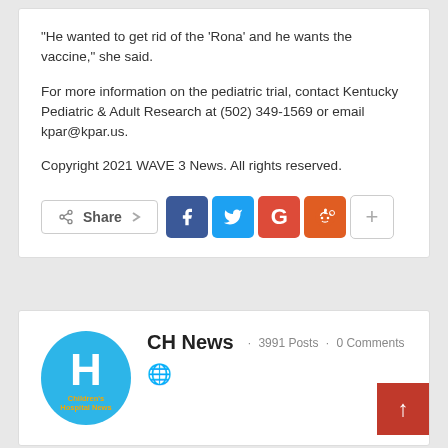“He wanted to get rid of the ‘Rona’ and he wants the vaccine,” she said.
For more information on the pediatric trial, contact Kentucky Pediatric & Adult Research at (502) 349-1569 or email kpar@kpar.us.
Copyright 2021 WAVE 3 News. All rights reserved.
[Figure (infographic): Social share buttons row: Share button, Facebook (blue), Twitter (light blue), Google+ (red), Reddit (orange), plus/more button (grey)]
[Figure (logo): Children's Hospital News logo: circular blue logo with white H, yellow text 'Children's Hospital News' below]
CH News  ·  3991 Posts  ·  0 Comments